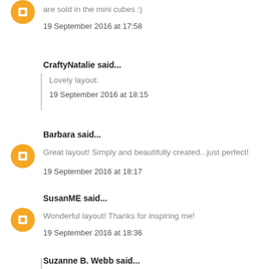are sold in the mini cubes :)
19 September 2016 at 17:58
CraftyNatalie said...
Lovely layout.
19 September 2016 at 18:15
Barbara said...
Great layout! Simply and beautifully created...just perfect!
19 September 2016 at 18:17
SusanME said...
Wonderful layout! Thanks for inspiring me!
19 September 2016 at 18:36
Suzanne B. Webb said...